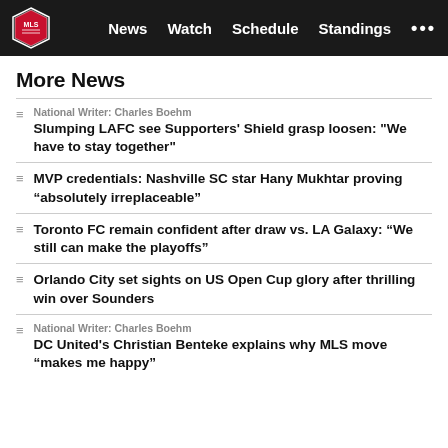MLS | News | Watch | Schedule | Standings
More News
National Writer: Charles Boehm
Slumping LAFC see Supporters' Shield grasp loosen: "We have to stay together"
MVP credentials: Nashville SC star Hany Mukhtar proving “absolutely irreplaceable”
Toronto FC remain confident after draw vs. LA Galaxy: “We still can make the playoffs”
Orlando City set sights on US Open Cup glory after thrilling win over Sounders
National Writer: Charles Boehm
DC United's Christian Benteke explains why MLS move “makes me happy”